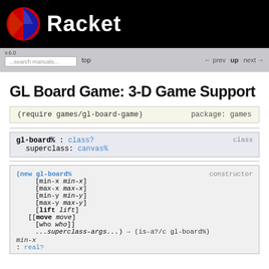Racket
GL Board Game: 3-D Game Support
(require games/gl-board-game)    package: games
gl-board% : class?   class
  superclass: canvas%
(new gl-board%  [min-x min-x]  [max-x max-x]  [min-y min-y]  [max-y max-y]  [lift lift]  [[move move]  [who who]]  ...superclass-args...) → (is-a?/c gl-board%)  constructor
min-x : real?